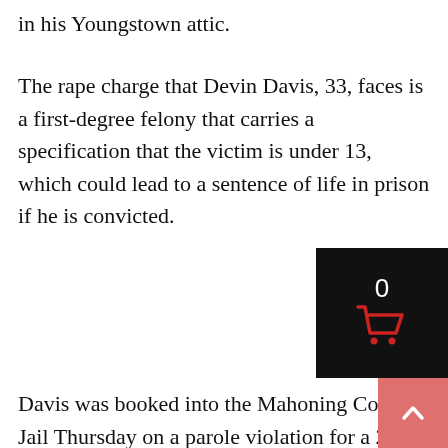in his Youngstown attic.
The rape charge that Devin Davis, 33, faces is a first-degree felony that carries a specification that the victim is under 13, which could lead to a sentence of life in prison if he is convicted.
Davis was booked into the Mahoning County Jail Thursday on a parole violation for a 2020 aggravated assault charge for which he was originally charged with gross sexual imposition. The rape charge was filed against him Monday in municipal court. He is